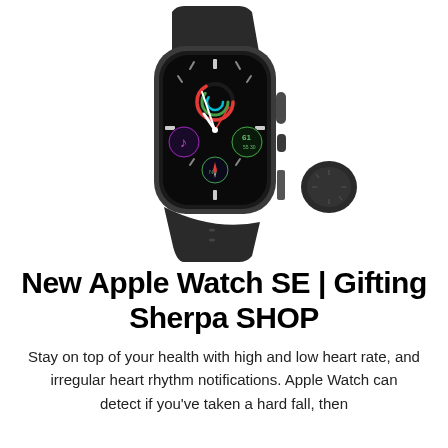[Figure (photo): Apple Watch SE with space gray aluminum case and black sport band, shown at an angle with the watch face displaying colorful complications including activity rings, music note, heart rate (61), and compass. The watch band curves behind the device.]
New Apple Watch SE | Gifting Sherpa SHOP
Stay on top of your health with high and low heart rate, and irregular heart rhythm notifications. Apple Watch can detect if you've taken a hard fall, then